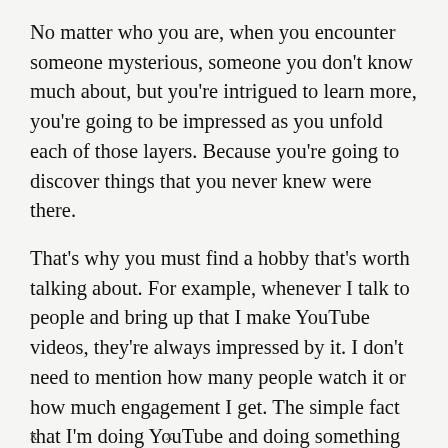No matter who you are, when you encounter someone mysterious, someone you don't know much about, but you're intrigued to learn more, you're going to be impressed as you unfold each of those layers. Because you're going to discover things that you never knew were there.
That's why you must find a hobby that's worth talking about. For example, whenever I talk to people and bring up that I make YouTube videos, they're always impressed by it. I don't need to mention how many people watch it or how much engagement I get. The simple fact that I'm doing YouTube and doing something that I love is impressive.
x                              x